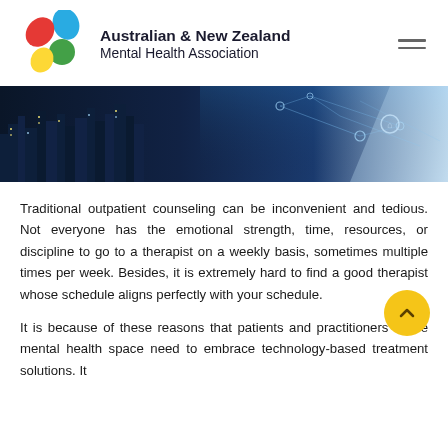Australian & New Zealand Mental Health Association
[Figure (photo): City skyline at night with digital network overlay, technology and connectivity concept]
Traditional outpatient counseling can be inconvenient and tedious. Not everyone has the emotional strength, time, resources, or discipline to go to a therapist on a weekly basis, sometimes multiple times per week. Besides, it is extremely hard to find a good therapist whose schedule aligns perfectly with your schedule.
It is because of these reasons that patients and practitioners in the mental health space need to embrace technology-based treatment solutions. It